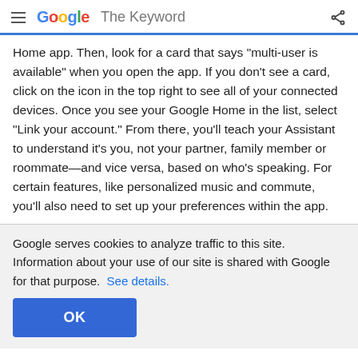Google The Keyword
Home app. Then, look for a card that says "multi-user is available" when you open the app. If you don't see a card, click on the icon in the top right to see all of your connected devices. Once you see your Google Home in the list, select "Link your account." From there, you'll teach your Assistant to understand it's you, not your partner, family member or roommate—and vice versa, based on who's speaking. For certain features, like personalized music and commute, you'll also need to set up your preferences within the app.
Google serves cookies to analyze traffic to this site. Information about your use of our site is shared with Google for that purpose.  See details.
OK